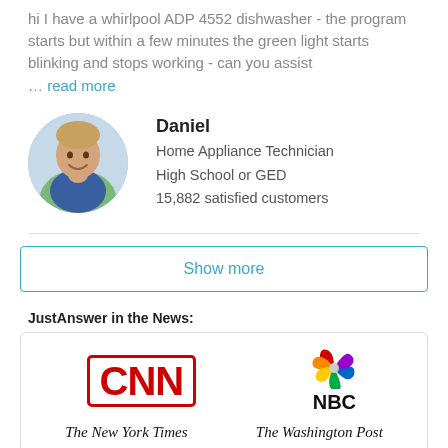hi I have a whirlpool ADP 4552 dishwasher - the program starts but within a few minutes the green light starts blinking and stops working - can you assist … read more
Daniel
Home Appliance Technician
High School or GED
15,882 satisfied customers
Show more
JustAnswer in the News:
[Figure (logo): CNN logo, NBC peacock logo, The New York Times logo, The Washington Post logo]